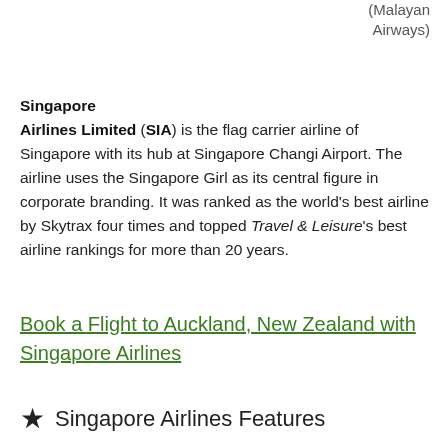(Malayan Airways)
Singapore Airlines Limited (SIA) is the flag carrier airline of Singapore with its hub at Singapore Changi Airport. The airline uses the Singapore Girl as its central figure in corporate branding. It was ranked as the world's best airline by Skytrax four times and topped Travel & Leisure's best airline rankings for more than 20 years.
Book a Flight to Auckland, New Zealand with Singapore Airlines
Singapore Airlines Features